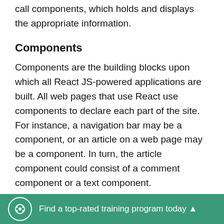call components, which holds and displays the appropriate information.
Components
Components are the building blocks upon which all React JS-powered applications are built. All web pages that use React use components to declare each part of the site. For instance, a navigation bar may be a component, or an article on a web page may be a component. In turn, the article component could consist of a comment component or a text component.
Components allow you to develop user interfaces
Find a top-rated training program today ▲